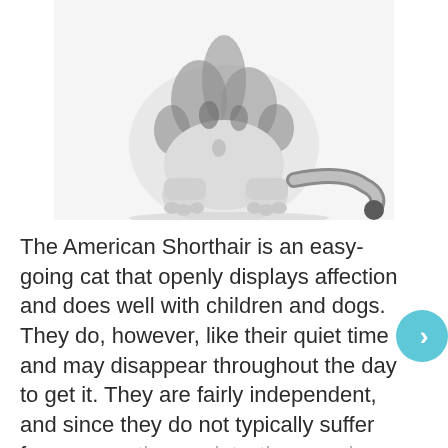[Figure (photo): Bottom half of a white and black tabby cat sitting against a white background, showing its paws, body and tail curled to the right]
The American Shorthair is an easy-going cat that openly displays affection and does well with children and dogs. They do, however, like their quiet time and may disappear throughout the day to get it. They are fairly independent, and since they do not typically suffer from separation anxiety, they can be left alone while